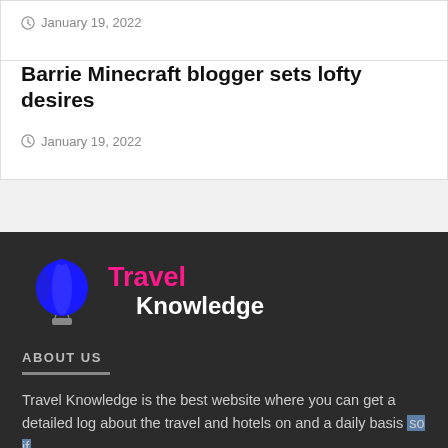January 19, 2022
Barrie Minecraft blogger sets lofty desires
January 19, 2022
[Figure (logo): Travel Knowledge logo with hot air balloon in blue and text 'Travel' in pink and 'Knowledge' in white on dark background]
ABOUT US
Travel Knowledge is the best website where you can get a detailed log about the travel and hotels on and a daily basis so if you don't subscribe to our newsletter please subscribe now and